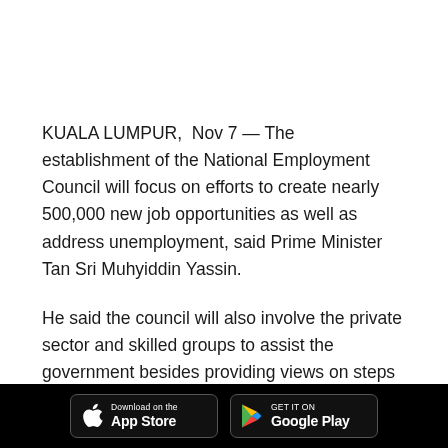KUALA LUMPUR,  Nov 7 — The establishment of the National Employment Council will focus on efforts to create nearly 500,000 new job opportunities as well as address unemployment, said Prime Minister Tan Sri Muhyiddin Yassin.
He said the council will also involve the private sector and skilled groups to assist the government besides providing views on steps needed to achieve this purpose.
“Among the people’s concerns at this time is the issue of
[Figure (other): App store download buttons: Download on the App Store (Apple) and Get it on Google Play (Android), displayed on a black footer bar.]